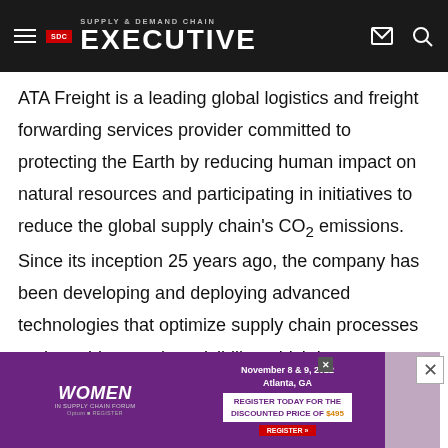Supply & Demand Chain Executive
ATA Freight is a leading global logistics and freight forwarding services provider committed to protecting the Earth by reducing human impact on natural resources and participating in initiatives to reduce the global supply chain’s CO2 emissions. Since its inception 25 years ago, the company has been developing and deploying advanced technologies that optimize supply chain processes and provide complete visibility, which in turn, empowers more efficient supply chain operations. For example, ATA Freight developed a web-based shipment management solution that delivers real-time PO level tracking, order planning and shipment scheduling to streamline a shipment’s processing, transportation footprint. The advanced 360-degree end-to-end digital-driven supply
[Figure (other): Advertisement banner for Women in Supply Chain Forum, November 8 & 9, 2022, Atlanta, GA. Register today for the discounted price of $495.]